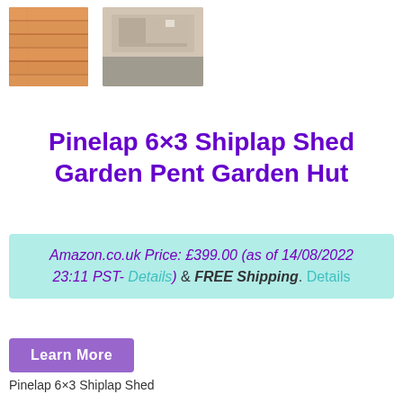[Figure (photo): Two thumbnail photos of a wooden garden shed/pent hut. Left thumbnail shows interior wooden planks in warm brown tones. Right thumbnail shows exterior view of the shed, slightly faded/muted tones.]
Pinelap 6×3 Shiplap Shed Garden Pent Garden Hut
Amazon.co.uk Price: £399.00 (as of 14/08/2022 23:11 PST- Details) & FREE Shipping. Details
Learn More
Pinelap 6×3 Shiplap Shed